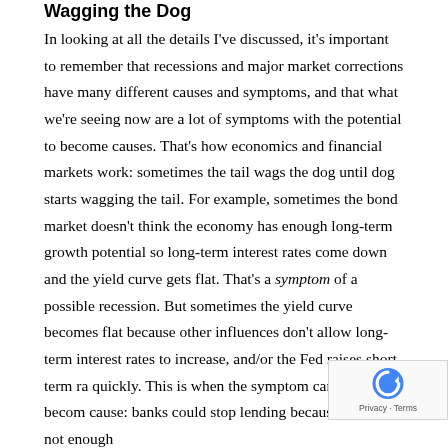Wagging the Dog
In looking at all the details I've discussed, it's important to remember that recessions and major market corrections have many different causes and symptoms, and that what we're seeing now are a lot of symptoms with the potential to become causes. That's how economics and financial markets work: sometimes the tail wags the dog until dog starts wagging the tail. For example, sometimes the bond market doesn't think the economy has enough long-term growth potential so long-term interest rates come down and the yield curve gets flat. That's a symptom of a possible recession. But sometimes the yield curve becomes flat because other influences don't allow long-term interest rates to increase, and/or the Fed raises short-term ra quickly. This is when the symptom can quickly becom cause: banks could stop lending because there's not enough